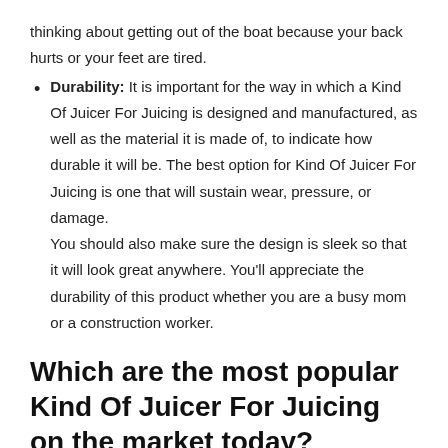thinking about getting out of the boat because your back hurts or your feet are tired.
Durability: It is important for the way in which a Kind Of Juicer For Juicing is designed and manufactured, as well as the material it is made of, to indicate how durable it will be. The best option for Kind Of Juicer For Juicing is one that will sustain wear, pressure, or damage.
You should also make sure the design is sleek so that it will look great anywhere. You'll appreciate the durability of this product whether you are a busy mom or a construction worker.
Which are the most popular Kind Of Juicer For Juicing on the market today?
Men and women who need quality and reliability can choose from a variety of Kind Of Juicer For Juicing products on the market.